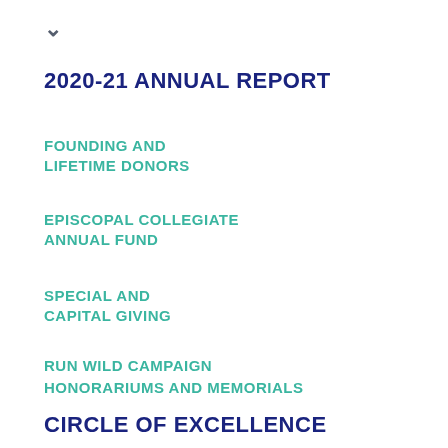▾
2020-21 ANNUAL REPORT
FOUNDING AND LIFETIME DONORS
EPISCOPAL COLLEGIATE ANNUAL FUND
SPECIAL AND CAPITAL GIVING
RUN WILD CAMPAIGN
HONORARIUMS AND MEMORIALS
CIRCLE OF EXCELLENCE